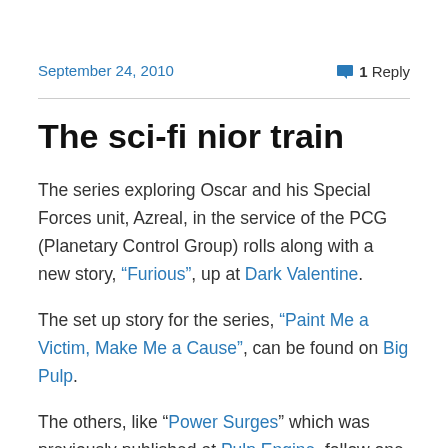September 24, 2010
1 Reply
The sci-fi nior train
The series exploring Oscar and his Special Forces unit, Azreal, in the service of the PCG (Planetary Control Group) rolls along with a new story, “Furious”, up at Dark Valentine.
The set up story for the series, “Paint Me a Victim, Make Me a Cause”, can be found on Big Pulp.
The others, like “Power Surges” which was previously published at Pulp Engine, follow one of the characters in